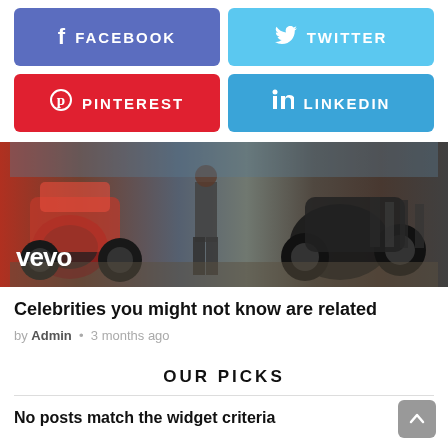[Figure (infographic): Social share buttons: Facebook (purple), Twitter (light blue), Pinterest (red), LinkedIn (blue)]
[Figure (photo): Vevo music video thumbnail showing ATVs and motorcycles on a dirt lot with people in the background, vevo logo in bottom left]
Celebrities you might not know are related
by Admin • 3 months ago
OUR PICKS
No posts match the widget criteria